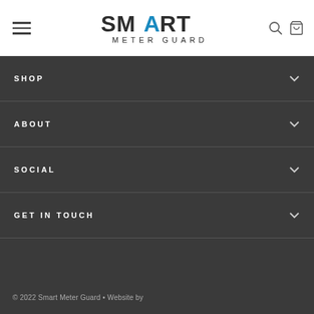[Figure (logo): Smart Meter Guard logo with stylized text and blue A]
SHOP
ABOUT
SOCIAL
GET IN TOUCH
© 2022 Smart Meter Guard • Website by